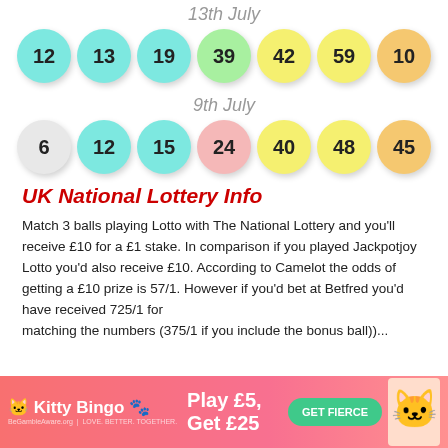13th July
[Figure (infographic): Lottery balls for 13th July: 12 (cyan), 13 (cyan), 19 (cyan), 39 (green), 42 (yellow), 59 (yellow), 10 (orange)]
9th July
[Figure (infographic): Lottery balls for 9th July: 6 (white/grey), 12 (cyan), 15 (cyan), 24 (pink), 40 (yellow), 48 (yellow), 45 (orange)]
UK National Lottery Info
Match 3 balls playing Lotto with The National Lottery and you'll receive £10 for a £1 stake. In comparison if you played Jackpotjoy Lotto you'd also receive £10. According to Camelot the odds of getting a £10 prize is 57/1. However if you'd bet at Betfred you'd have received 725/1 for matching three numbers (375/1 if you include the bonus ball)...
[Figure (infographic): Kitty Bingo advertisement banner: Play £5, Get £25. GET FIERCE button.]